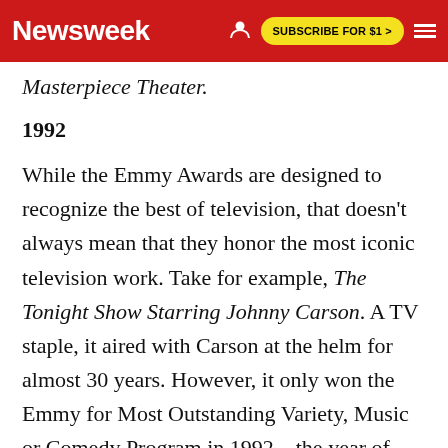Newsweek  SUBSCRIBE FOR $1 >
Masterpiece Theater.
1992
While the Emmy Awards are designed to recognize the best of television, that doesn't always mean that they honor the most iconic television work. Take for example, The Tonight Show Starring Johnny Carson. A TV staple, it aired with Carson at the helm for almost 30 years. However, it only won the Emmy for Most Outstanding Variety, Music or Comedy Program in 1992—the year of Carson's